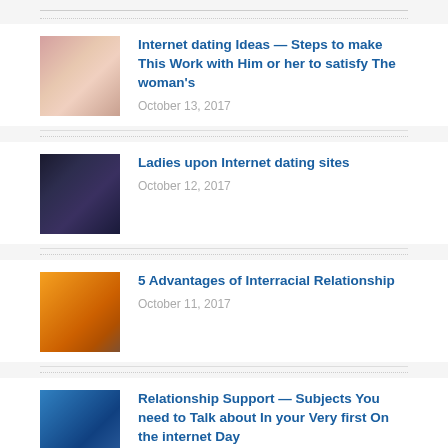Internet dating Ideas — Steps to make This Work with Him or her to satisfy The woman's
October 13, 2017
Ladies upon Internet dating sites
October 12, 2017
5 Advantages of Interracial Relationship
October 11, 2017
Relationship Support — Subjects You need to Talk about In your Very first On the internet Day
October 11, 2017
Indonesian Relationship on the web
October 10, 2017